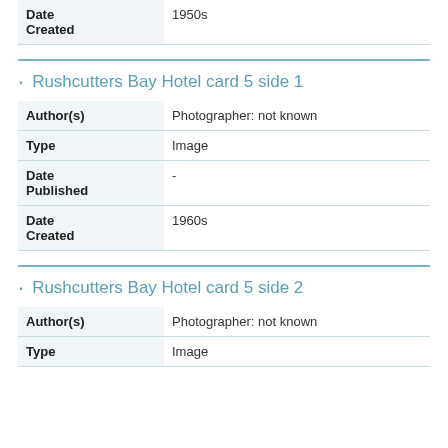|  |  |
| --- | --- |
| Date Created | 1950s |
Rushcutters Bay Hotel card 5 side 1
|  |  |
| --- | --- |
| Author(s) | Photographer: not known |
| Type | Image |
| Date Published | - |
| Date Created | 1960s |
Rushcutters Bay Hotel card 5 side 2
|  |  |
| --- | --- |
| Author(s) | Photographer: not known |
| Type | Image |